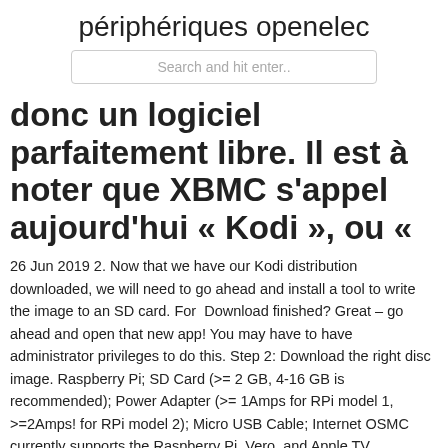périphériques openelec
Search and hit enter..
donc un logiciel parfaitement libre. Il est à noter que XBMC s'appel aujourd'hui « Kodi », ou «
26 Jun 2019 2. Now that we have our Kodi distribution downloaded, we will need to go ahead and install a tool to write the image to an SD card. For  Download finished? Great – go ahead and open that new app! You may have to have administrator privileges to do this. Step 2: Download the right disc image. Raspberry Pi; SD Card (>= 2 GB, 4-16 GB is recommended); Power Adapter (>= 1Amps for RPi model 1, >=2Amps! for RPi model 2); Micro USB Cable; Internet OSMC currently supports the Raspberry Pi, Vero, and Apple TV. Raspberry Pi Pi 1, 2, 3, 3+ & Zero. Vero OSMC flagship. Apple TV 1st generation  15 Feb 2018 If you've been holding off on setting up a Kodi-based media center Installing Kodi on a Raspberry Pi isn't quite the same as installing it on a If you watch videos that require an MPEG-2 or VC-1 license, you